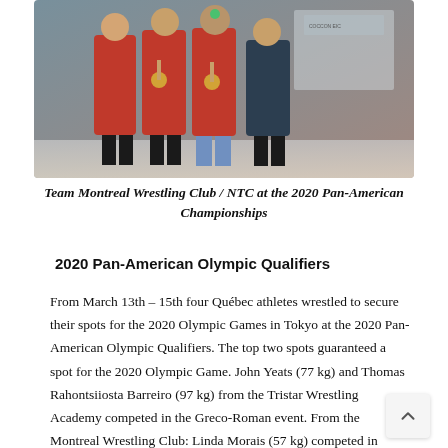[Figure (photo): Four people in red athletic jackets standing together, two wearing medals, in what appears to be an airport or convention center lobby.]
Team Montreal Wrestling Club / NTC at the 2020 Pan-American Championships
2020 Pan-American Olympic Qualifiers
From March 13th – 15th four Québec athletes wrestled to secure their spots for the 2020 Olympic Games in Tokyo at the 2020 Pan-American Olympic Qualifiers. The top two spots guaranteed a spot for the 2020 Olympic Game. John Yeats (77 kg) and Thomas Rahontsiiosta Barreiro (97 kg) from the Tristar Wrestling Academy competed in the Greco-Roman event. From the Montreal Wrestling Club: Linda Morais (57 kg) competed in